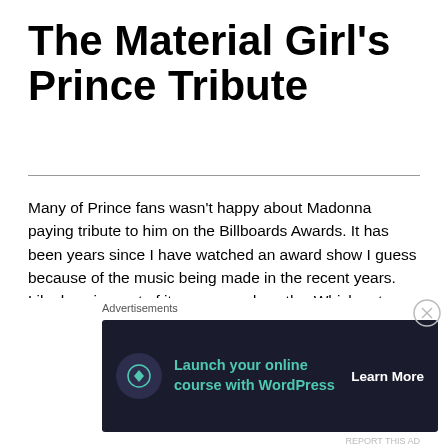The Material Girl’s Prince Tribute
Many of Prince fans wasn’t happy about Madonna paying tribute to him on the Billboards Awards. It has been years since I have watched an award show I guess because of the music being made in the recent years. Like how is most of it even award worthy. Which gets me to thinking about the people who started a petition to stop Madonna from performing as if those people have a clue about real music Yeah I said, I’m just saying.
Now I will admit that I am partial to Madonna I’ve been a fan of hers every since I was very young. My mother bought me her 45s and LPs for my stereo which had a record player. Even with that being said she’s still a
Advertisements
[Figure (other): Advertisement banner: Launch your online course with WordPress — Learn More]